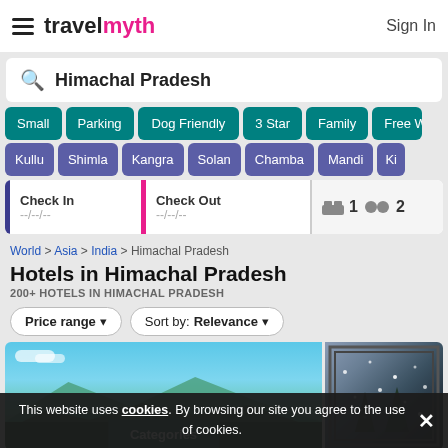travelmyth — Sign In
Himachal Pradesh (search bar)
Small
Parking
Dog Friendly
3 Star
Family
Free W...
Kullu
Shimla
Kangra
Solan
Chamba
Mandi
Ki...
Check In --/--/-- | Check Out --/--/-- | 1 room 2 guests
World > Asia > India > Himachal Pradesh
Hotels in Himachal Pradesh
200+ HOTELS IN HIMACHAL PRADESH
Price range ▼   Sort by: Relevance ▼
[Figure (screenshot): Two hotel images side by side showing mountain landscape and snowy scene, with a 'Categories' overlay banner]
This website uses cookies. By browsing our site you agree to the use of cookies.